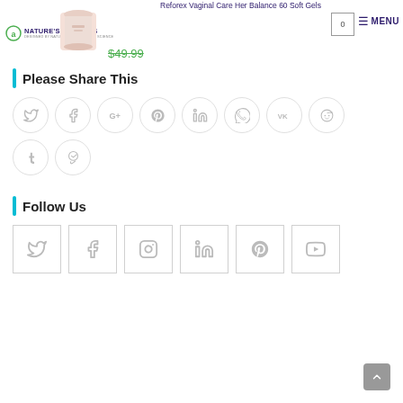Reforex Vaginal Care Her Balance 60 Soft Gels
[Figure (logo): Nature's Sources logo - circle with leaf, text NATURE'S SOURCES DESIGNED BY NATURE, CONFIRMED BY SCIENCE]
$49.99
Please Share This
[Figure (infographic): Row of circular social share buttons: Twitter, Facebook, Google+, Pinterest, LinkedIn, Viber, VK, Reddit]
[Figure (infographic): Second row of circular social share buttons: Tumblr, Delicious/other]
Follow Us
[Figure (infographic): Row of square follow buttons: Twitter, Facebook, Instagram, LinkedIn, Pinterest, YouTube]